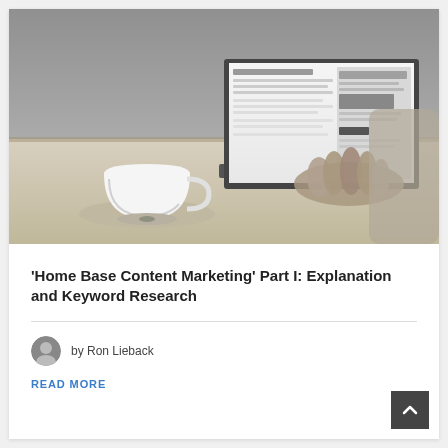[Figure (photo): Black and white photo of a person typing on a laptop at a wooden table with a coffee cup and saucer in the foreground. The laptop screen shows a webpage.]
'Home Base Content Marketing' Part I: Explanation and Keyword Research
by Ron Lieback
READ MORE